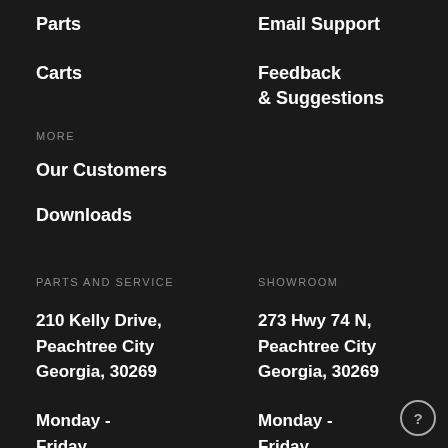Parts
Email Support
Carts
Feedback & Suggestions
MORE
Our Customers
Downloads
PARTS AND SERVICE
SHOWROOM
210 Kelly Drive, Peachtree City Georgia, 30269
273 Hwy 74 N, Peachtree City Georgia, 30269
Monday - Friday 8:30 AM to
Monday - Friday 8:30 AM to